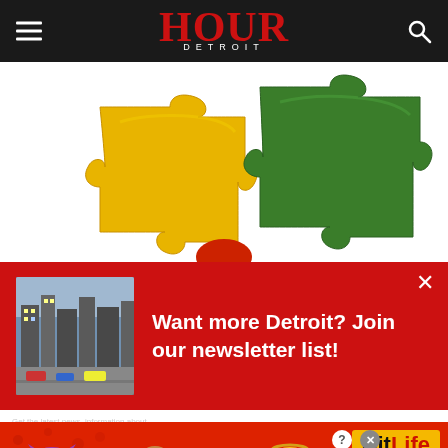HOUR DETROIT
[Figure (illustration): Two interlocking puzzle pieces, one yellow and one green, on a white background with a red piece partially visible at the bottom center]
[Figure (infographic): Red popup banner with a city street photo thumbnail on the left and white bold text reading 'Want more Detroit? Join our newsletter list!' with a close X button in the top right]
[Figure (infographic): BitLife advertisement banner on red dotted background featuring devil emoji, person shrugging emoji, angel emoji, and sperm emoji with 'BitLife REAL CHOICES' text and close button]